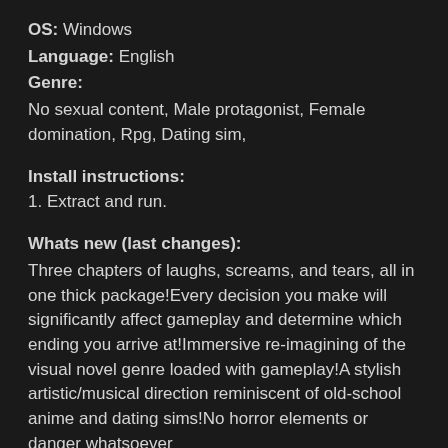OS: Windows
Language: English
Genre:
No sexual content, Male protagonist, Female domination, Rpg, Dating sim,
Install instructions:
1. Extract and run.
Whats new (last changes):
Three chapters of laughs, screams, and tears, all in one thick package!Every decision you make will significantly affect gameplay and determine which ending you arrive at!Immersive re-imagining of the visual novel genre loaded with gameplay!A stylish artistic/musical direction reminiscent of old-school anime and dating sims!No horror elements or danger whatsoever